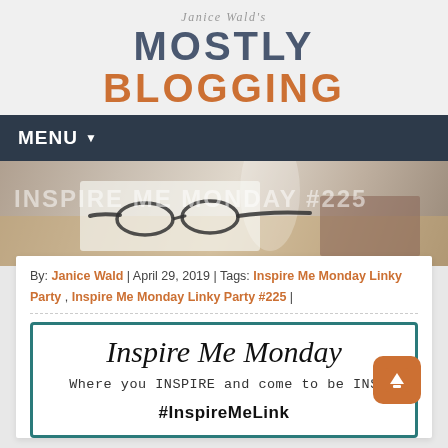Janice Wald's MOSTLY BLOGGING
MENU
[Figure (photo): Hero image of eyeglasses resting on a notepad on a wooden desk, with semi-transparent overlay text reading INSPIRE ME MONDAY #225]
By: Janice Wald | April 29, 2019 | Tags: Inspire Me Monday Linky Party , Inspire Me Monday Linky Party #225 |
[Figure (infographic): Inspire Me Monday branded card with teal border. Text reads: 'Inspire Me Monday', 'Where you INSPIRE and come to be INS...' (truncated), '#InspireMeLink']